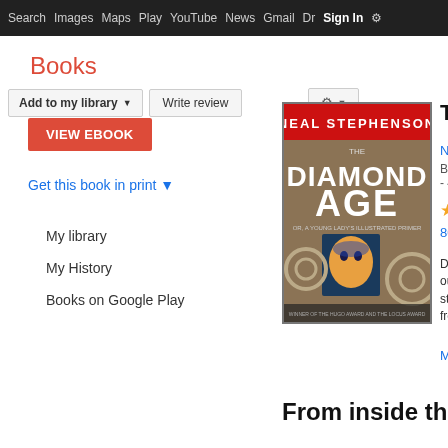Search  Images  Maps  Play  YouTube  News  Gmail  Drive  More  Sign In  ⚙
Books
Add to my library ▼   Write review   ⚙ ▼
VIEW EBOOK
Get this book in print ▼
My library
My History
Books on Google Play
[Figure (illustration): Book cover of The Diamond Age by Neal Stephenson — steampunk-style cover with gears and a face]
The Diamond Age
Neal
Banta
- 499
★★★
80 Re
Deca our fu stone from
More
From inside the